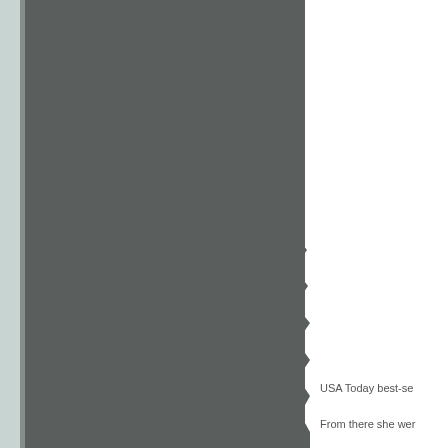[Figure (photo): A dark gray photograph or image occupying the left two-thirds of the page, with a torn or rough right edge creating an irregular boundary against the white background. The image has a light gray border or background on its left side.]
USA Today best-se
From there she wer